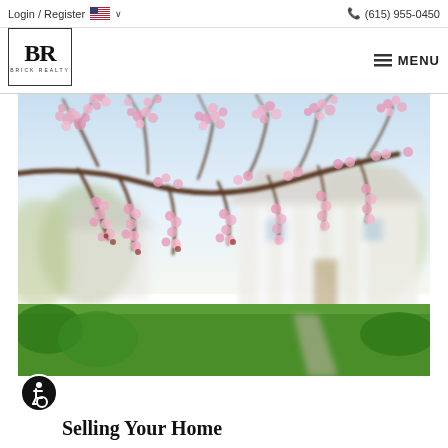Login / Register  🇺🇸 ∨   (615) 955-0450
[Figure (logo): BR Brick Realty logo in a square border, with large serif BR letters and 'BRICK REALTY' text below]
≡ MENU
[Figure (photo): A spring-blooming cherry blossom tree with pink flowers in the foreground, with a blurred white colonial-style house with columns visible in the background, green lawn, clear sky]
[Figure (other): Circular accessibility icon — black circle with white wheelchair user symbol]
Selling Your Home